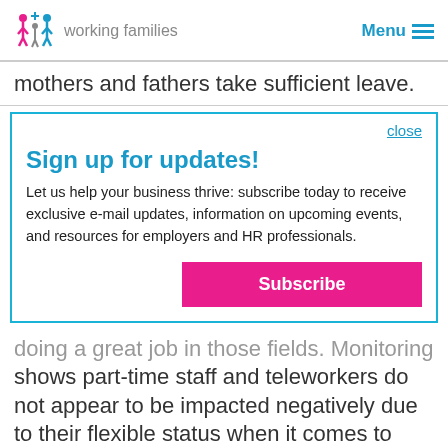working families  Menu
mothers and fathers take sufficient leave.
close
Sign up for updates!
Let us help your business thrive: subscribe today to receive exclusive e-mail updates, information on upcoming events, and resources for employers and HR professionals.
Subscribe
doing a great job in those fields. Monitoring shows part-time staff and teleworkers do not appear to be impacted negatively due to their flexible status when it comes to performance